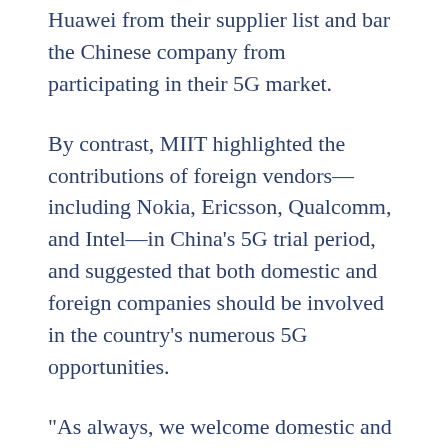Huawei from their supplier list and bar the Chinese company from participating in their 5G market.
By contrast, MIIT highlighted the contributions of foreign vendors—including Nokia, Ericsson, Qualcomm, and Intel—in China's 5G trial period, and suggested that both domestic and foreign companies should be involved in the country's numerous 5G opportunities.
“As always, we welcome domestic and foreign enterprises to actively participate in China’s 5G network construction and efforts to promote the application of the technology,” the ministry said.